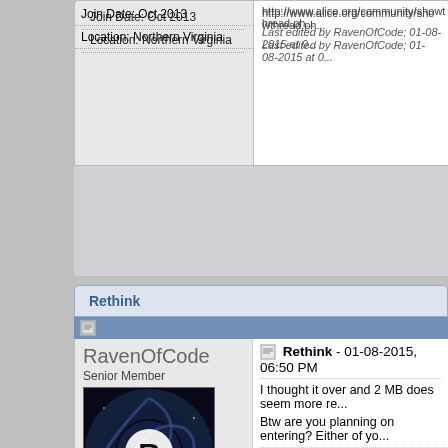Join Date: Oct 2013
Location: Northern Virginia
http://www.alice.org/community/showthread.ph...
Last edited by RavenOfCode; 01-08-2015 at 0...
Rethink
RavenOfCode
Senior Member
[Figure (illustration): Avatar image: dark circular galaxy swirl with large R letter in center on black background]
Status: Offline
Posts: 409
Join Date: Oct 2013
Location: Northern Virginia
Rethink - 01-08-2015, 06:50 PM
I thought it over and 2 MB does seem more re...
Btw are you planning on entering? Either of yo...
Stuff + Other Stuff + Different Other Stuff = Thin...
My best Alice game:
Clash of the Cubes (an arena fighting game): http://www.alice.org/community/showthread.ph...